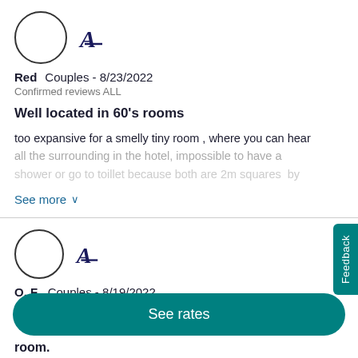[Figure (illustration): User avatar circle and Marriott brand logo (A icon) for reviewer Red]
Red   Couples - 8/23/2022
Confirmed reviews ALL
Well located in 60's rooms
too expansive for a smelly tiny room , where you can hear all the surrounding in the hotel, impossible to have a shower or go to toillet because both are 2m squares  by
See more ∨
[Figure (illustration): User avatar circle and Marriott brand logo (A icon) for reviewer O. F.]
O. F.   Couples - 8/19/2022
Confirmed reviews ALL
See rates
room.